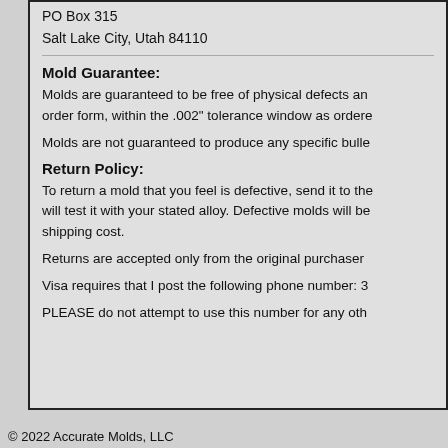PO Box 315
Salt Lake City, Utah 84110
Mold Guarantee:
Molds are guaranteed to be free of physical defects and to match the order form, within the .002" tolerance window as ordered.
Molds are not guaranteed to produce any specific bullet.
Return Policy:
To return a mold that you feel is defective, send it to the address above. We will test it with your stated alloy. Defective molds will be replaced at no additional shipping cost.
Returns are accepted only from the original purchaser.
Visa requires that I post the following phone number: 3...
PLEASE do not attempt to use this number for any other purpose.
© 2022 Accurate Molds, LLC